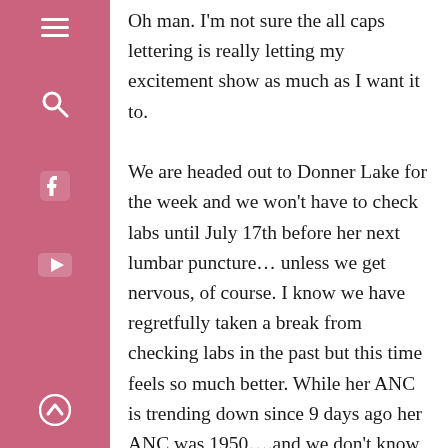Oh man. I'm not sure the all caps lettering is really letting my excitement show as much as I want it to. We are headed out to Donner Lake for the week and we won't have to check labs until July 17th before her next lumbar puncture… unless we get nervous, of course. I know we have regretfully taken a break from checking labs in the past but this time feels so much better. While her ANC is trending down since 9 days ago her ANC was 1950….and we don't know exactly where that trend will stop…at least her hemoglobin has come up!!! I'm not a hem/onc expert but that seems very positive! I would have asked more questions